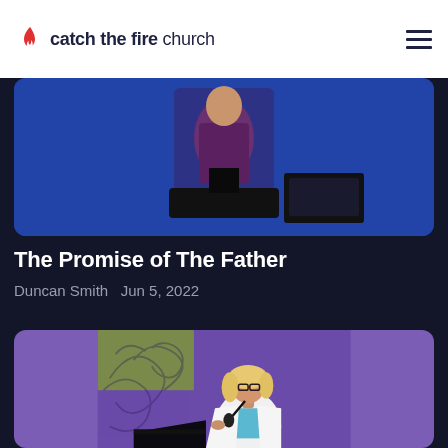catch the fire church
[Figure (photo): Person in dark red/purple shirt speaking on stage with blue background and podium]
The Promise of The Father
Duncan Smith   Jun 5, 2022
[Figure (photo): Woman with blonde hair and glasses wearing white blazer over blue top, speaking into microphone on stage with purple and green background with floral design]